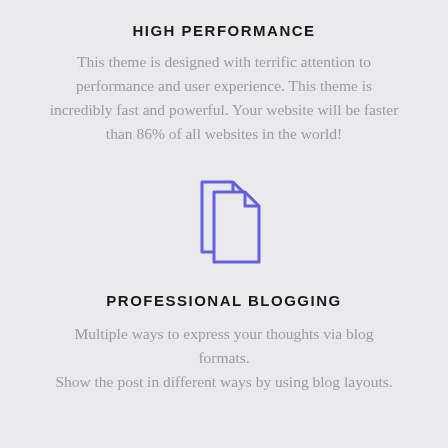HIGH PERFORMANCE
This theme is designed with terrific attention to performance and user experience. This theme is incredibly fast and powerful. Your website will be faster than 86% of all websites in the world!
[Figure (illustration): Two overlapping document/file page icons in purple/indigo color outline style]
PROFESSIONAL BLOGGING
Multiple ways to express your thoughts via blog formats.
Show the post in different ways by using blog layouts.